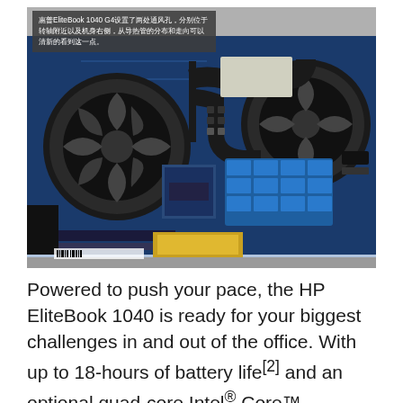[Figure (photo): Interior view of HP EliteBook 1040 G4 laptop showing the motherboard with two cooling fans connected by heat pipes, RAM modules, and various chips visible on the blue PCB.]
惠普EliteBook 1040 G4设置了两处通风孔，分别位于转轴附近以及机身右侧，从导热管的分布和走向可以清新的看到这一点。
Powered to push your pace, the HP EliteBook 1040 is ready for your biggest challenges in and out of the office. With up to 18-hours of battery life[2] and an optional quad-core Intel® Core™ processor (H-series)[3] under the hood, there's